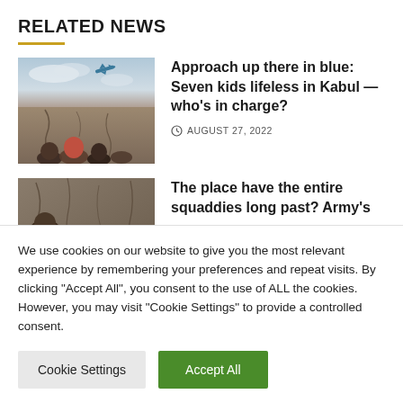RELATED NEWS
[Figure (photo): Aerial view with airplane in sky above cracked wall and people]
Approach up there in blue: Seven kids lifeless in Kabul — who's in charge?
AUGUST 27, 2022
[Figure (photo): Close-up of cracked concrete wall with people]
The place have the entire squaddies long past? Army's
We use cookies on our website to give you the most relevant experience by remembering your preferences and repeat visits. By clicking "Accept All", you consent to the use of ALL the cookies. However, you may visit "Cookie Settings" to provide a controlled consent.
Cookie Settings   Accept All